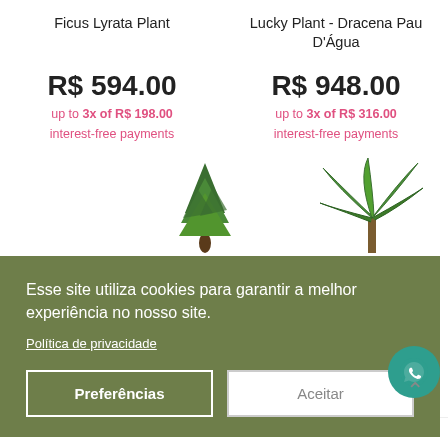Ficus Lyrata Plant
Lucky Plant - Dracena Pau D'Água
R$ 594.00
up to 3x of R$ 198.00 interest-free payments
R$ 948.00
up to 3x of R$ 316.00 interest-free payments
[Figure (photo): Conifer-like green plant top view illustration]
[Figure (photo): Dracena-like green plant illustration]
Esse site utiliza cookies para garantir a melhor experiência no nosso site.
Política de privacidade
Preferências
Aceitar
[Figure (logo): WhatsApp icon circle button]
^
...r Testimo | ...roca Maria